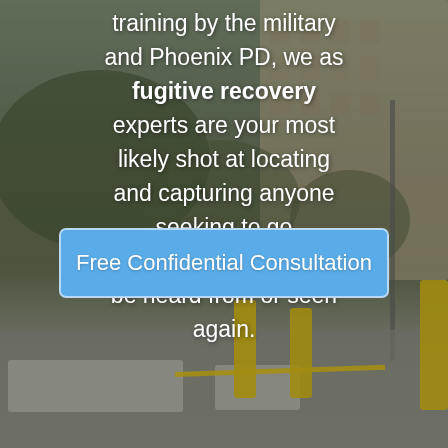training by the military and Phoenix PD, we as fugitive recovery experts are your most likely shot at locating and capturing anyone seeking to go underground, never to be heard from or seen again.
Free Confidential Consultation
[Figure (photo): Blurred outdoor street scene with building facade, trees, yellow bollards, and concrete barriers in the foreground]